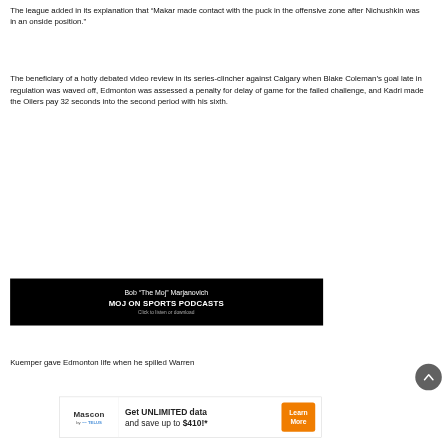The league added in its explanation that “Makar made contact with the puck in the offensive zone after Nichushkin was in an onside position.”
The beneficiary of a hotly debated video review in its series-clincher against Calgary when Blake Coleman’s goal late in regulation was waved off, Edmonton was assessed a penalty for delay of game for the failed challenge, and Kadri made the Oilers pay 32 seconds into the second period with his sixth.
[Figure (other): Podcast advertisement banner: Bob “The Moj” Marjanovich, MOJ ON SPORTS PODCASTS, Click to listen or download]
Kuemper gave Edmonton life when he spilled Warren
[Figure (other): Mascon by Telus advertisement: Get UNLIMITED data and save up to $410!* Learn More]